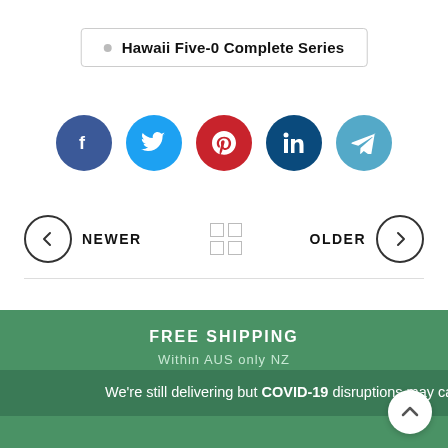Hawaii Five-0 Complete Series
[Figure (infographic): Row of 5 social media share buttons: Facebook (dark blue), Twitter (light blue), Pinterest (red), LinkedIn (dark blue), Telegram (light blue)]
NEWER
[Figure (other): Grid/menu icon with 4 squares]
OLDER
FREE SHIPPING
Within AUS only NZ
We're still delivering but COVID-19 disruptions may cause delays. ETA could be upto 10 days.